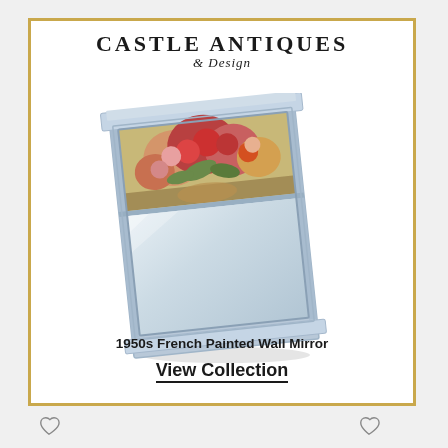[Figure (logo): Castle Antiques & Design logo — 'CASTLE ANTIQUES' in large uppercase serif, '& Design' in italic script below]
[Figure (photo): 1950s French painted wall mirror with light blue/grey distressed frame, floral oil painting panel at top with roses and flowers, rectangular mirror panel below, photographed at slight angle on white background]
1950s French Painted Wall Mirror
View Collection